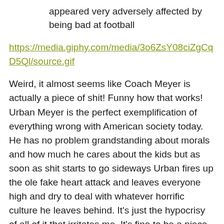appeared very adversely affected by being bad at football
https://media.giphy.com/media/3o6ZsY08ciZgCqD5Ql/source.gif
Weird, it almost seems like Coach Meyer is actually a piece of shit! Funny how that works! Urban Meyer is the perfect exemplification of everything wrong with American society today. He has no problem grandstanding about morals and how much he cares about the kids but as soon as shit starts to go sideways Urban fires up the ole fake heart attack and leaves everyone high and dry to deal with whatever horrific culture he leaves behind. It's just the hypocrisy of all of it that irritates me. It's fine to be a piece of